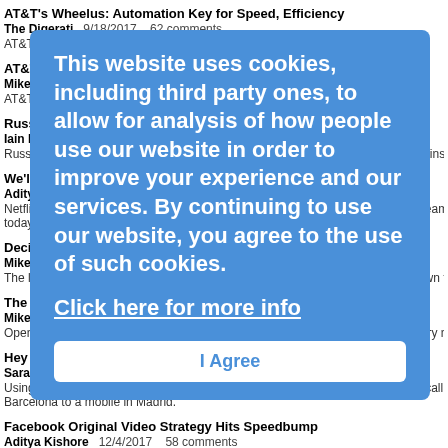AT&T's Wheelus: Automation Key for Speed, Efficiency
The Digerati   9/18/2017   62 comments
AT&T describes the evolution of its operations, including CRM, in this Q&A.
AT&T Embraces the Open Source
Mike Robuck   10/30/2017   62 comments
AT&T wants to contribute more to, and take advantage of, new open source A
Russia's MTS Tackles OTT
Iain Morris   12/30/2016   61 comments
Russia's biggest operator reckons RCS technology gives it a weapon to use against its web-
We'll Make Buffering Obsolete, Like Dial-Up: Netflix CEO
Aditya Kishore   2/27/2017   61 comments
Netflix CEO Reed Hastings said his company is delivering high-quality video streams at 'half today, and hopes to go lower.
This website uses cookies, including third party ones, to allow for analysis of how people use our website in order to improve your experience and our services. By continuing to use our website, you agree to the use of such cookies. Click here for more info
Decision 2016: TT Cartoon Caption Contest Winners
Mike Robuck   10/25/2016   59 comments
The large field of cartoon captions for last month's contest has been whittled down for a final
The Growing Pains of Open Source
Mike Robuck   9/29/2016   59 comments
Open source communities are, in some ways, still finding their feet as the industry moves aw
Hey Watson: Vodafone Makes First 5G Call
Sarah Thomas   2/21/2018   59 comments
Using Huawei's Radio Access Network equipment, Vodafone made the first 5G call in the wo Barcelona to a mobile in Madrid.
Facebook Original Video Strategy Hits Speedbump
Aditya Kishore   12/4/2017   58 comments